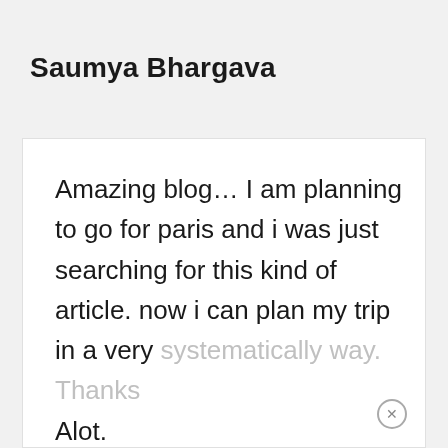Saumya Bhargava
Amazing blog… I am planning to go for paris and i was just searching for this kind of article. now i can plan my trip in a very systematically way. Thanks Alot.